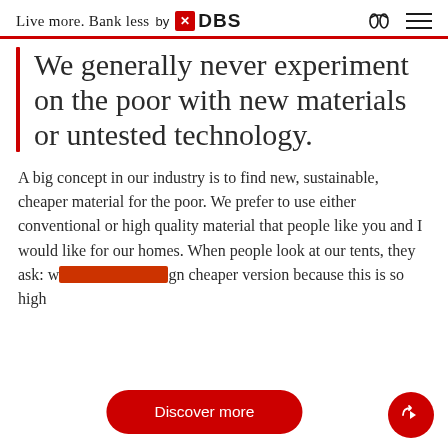Live more. Bank less by DBS
We generally never experiment on the poor with new materials or untested technology.
A big concept in our industry is to find new, sustainable, cheaper material for the poor. We prefer to use either conventional or high quality material that people like you and I would like for our homes. When people look at our tents, they ask: why don't you design cheaper version because this is so high